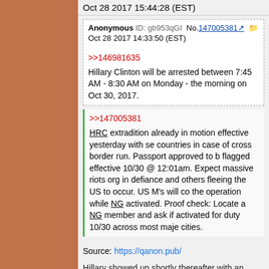Oct 28 2017 15:44:28 (EST)
Anonymous  ID: gb953qGI  No.147005381
Oct 28 2017 14:33:50 (EST)
>>146981635
Hillary Clinton will be arrested between 7:45 AM - 8:30 AM on Monday - the morning on Oct 30, 2017.
>>147005381
HRC extradition already in motion effective yesterday with se countries in case of cross border run. Passport approved to b flagged effective 10/30 @ 12:01am. Expect massive riots org in defiance and others fleeing the US to occur. US M's will co the operation while NG activated. Proof check: Locate a NG member and ask if activated for duty 10/30 across most maje cities.
Source: https://qanon.pub/
Hillary showed up shortly thereafter with an ankle boot that she wore broke her toe or sprained her ankle (the narrative changed). Likewise with an ankle boot around the same time. His one shifted legs and th great fanfare. 30 days exactly since Q predicted he would be back in its day", his death announcement was made on International Dog Da